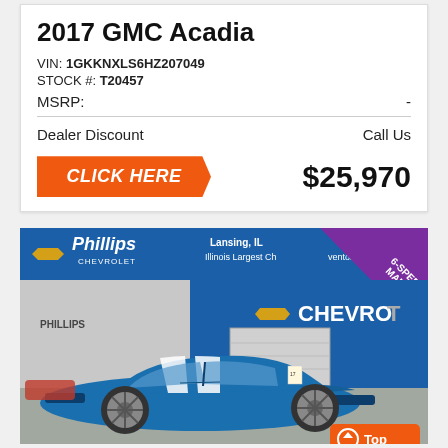2017 GMC Acadia
VIN: 1GKKNXLS6HZ207049
STOCK #: T20457
| MSRP: | - |
| Dealer Discount | Call Us |
CLICK HERE   $25,970
[Figure (photo): Blue Chevrolet Camaro parked in front of Phillips Chevrolet dealership in Lansing, IL. A purple banner reads '6-SPEED MANUAL!'. The dealership sign shows 'Illinois Largest Chevrolet Inventory' and phone number. A 'Top' button appears in the lower right corner.]